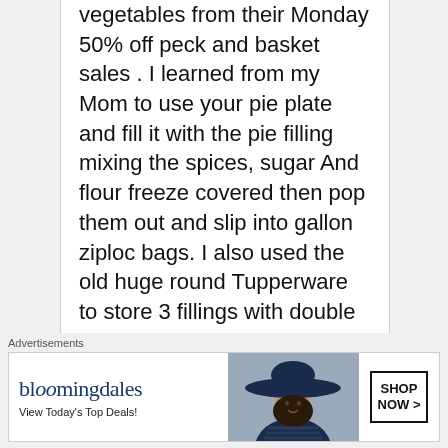vegetables from their Monday 50% off peck and basket sales . I learned from my Mom to use your pie plate and fill it with the pie filling mixing the spices, sugar And flour freeze covered then pop them out and slip into gallon ziploc bags. I also used the old huge round Tupperware to store 3 fillings with double layer wax paper In between filling. I froze peach and apple fillings. When we moved it was so much more expensive to purchase fruits in vegetables.? Do you have available locally strawberries,
Advertisements
[Figure (other): Bloomingdale's advertisement banner with logo, woman in wide-brim hat, and 'SHOP NOW >' button]